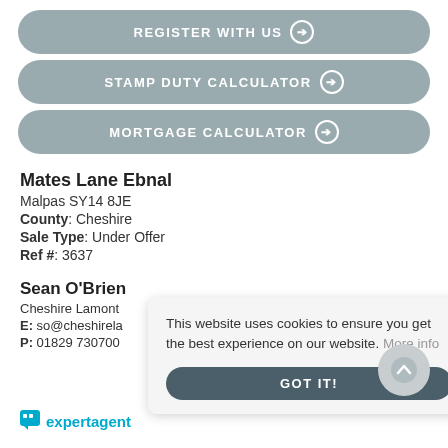REGISTER WITH US →
STAMP DUTY CALCULATOR →
MORTGAGE CALCULATOR →
Mates Lane Ebnal
Malpas SY14 8JE
County: Cheshire
Sale Type: Under Offer
Ref #: 3637
Sean O'Brien
Cheshire Lamont
E: so@cheshirela…
P: 01829 730700
This website uses cookies to ensure you get the best experience on our website. More info
GOT IT!
[Figure (logo): expertagent logo in teal/blue]